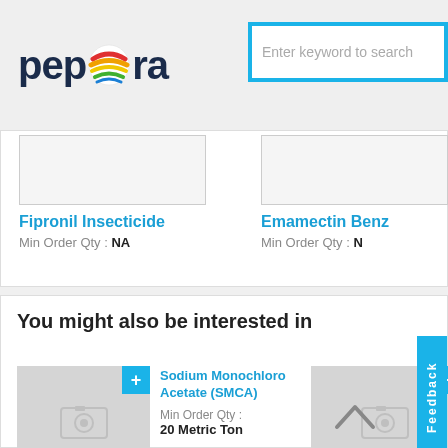[Figure (logo): Pepagora logo with globe icon and search bar]
Fipronil Insecticide
Min Order Qty : NA
Emamectin Benz...
Min Order Qty : N...
You might also be interested in
Sodium Monochloro Acetate (SMCA)
Min Order Qty : 20 Metric Ton
Carbe...
Min O...
Feedback